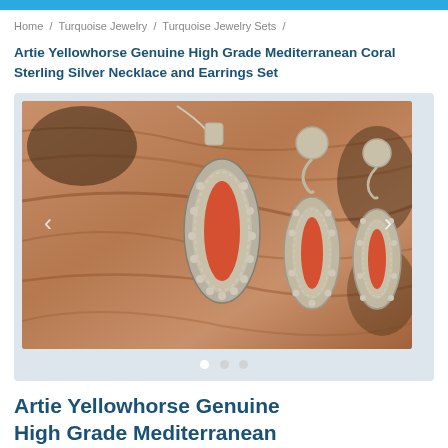Home / Turquoise Jewelry / Turquoise Jewelry Sets /
Artie Yellowhorse Genuine High Grade Mediterranean Coral Sterling Silver Necklace and Earrings Set
[Figure (photo): Photo of a sterling silver jewelry set featuring a necklace pendant and two earrings, all set with oval Mediterranean coral stones in orange-red color, displayed against a wood-grain background.]
Artie Yellowhorse Genuine High Grade Mediterranean